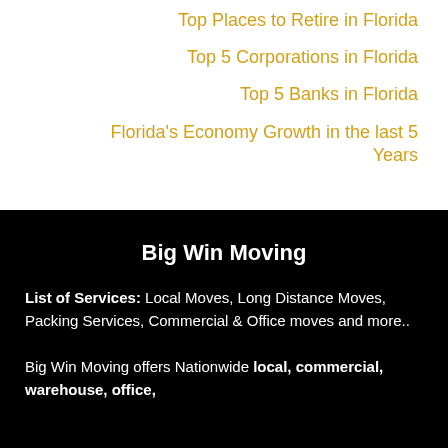Top Places to Retire in Florida
Top 5 Corporations in Florida
Top 5 Banks in Florida
Florida's Economy Growth in the last 5 Years
Big Win Moving
List of Services: Local Moves, Long Distance Moves, Packing Services, Commercial & Office moves and more..
Big Win Moving offers Nationwide local, commercial, warehouse, office,